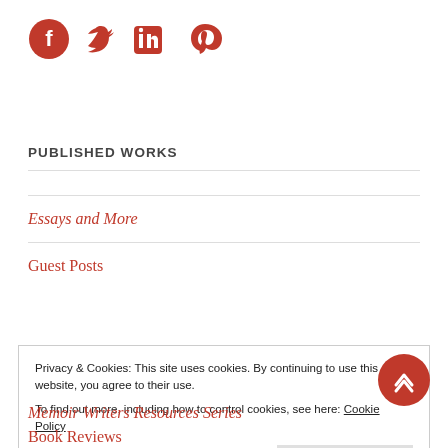[Figure (other): Social media icons: Facebook, Twitter, LinkedIn, Pinterest — all in red/dark red color]
PUBLISHED WORKS
Essays and More
Guest Posts
Privacy & Cookies: This site uses cookies. By continuing to use this website, you agree to their use.
To find out more, including how to control cookies, see here: Cookie Policy
Memoir Writers Resources Series
Book Reviews